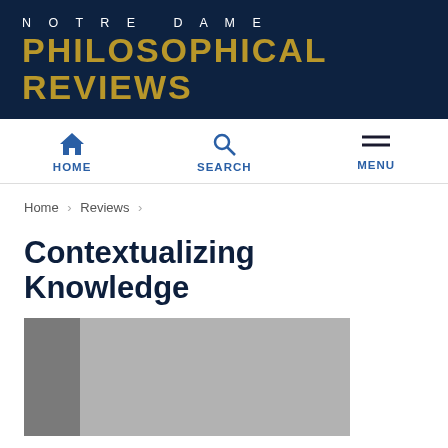NOTRE DAME PHILOSOPHICAL REVIEWS
[Figure (other): Navigation bar with HOME, SEARCH, and MENU icons]
Home › Reviews ›
Contextualizing Knowledge
[Figure (photo): Book cover image placeholder with dark grey spine and lighter grey main cover area]